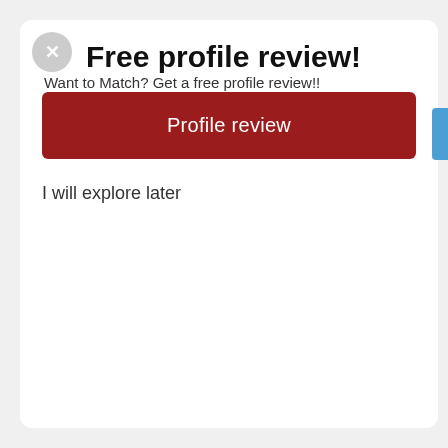Free profile review!
Want to Match? Get a free profile review!!
[Figure (screenshot): Red button labeled 'Profile review']
I will explore later